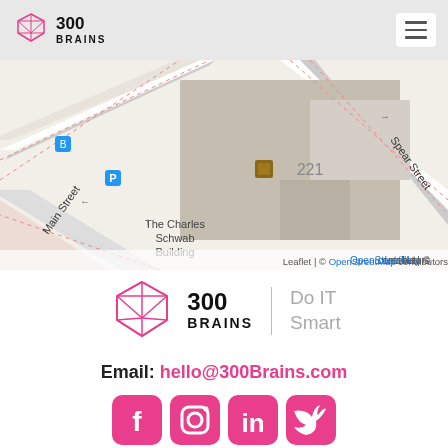300 BRAINS
[Figure (map): Street map showing The Charles Schwab Building at 221, Main Street and Spear Street intersection, with Leaflet | © OpenStreetMap contributors attribution]
[Figure (logo): 300 BRAINS logo with diamond/gem shape in pink, text '300 BRAINS' and tagline 'Do IT Smart']
Email: hello@300Brains.com
[Figure (other): Social media icons: Facebook, Instagram, LinkedIn, Twitter in pink color]